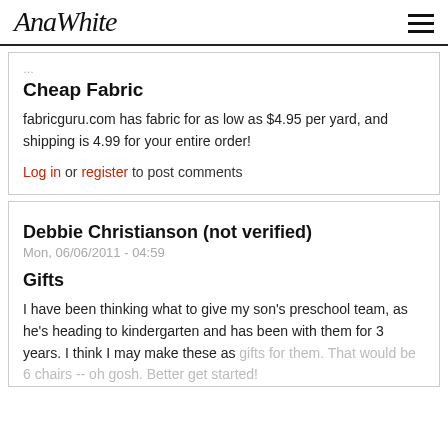AnaWhite
Cheap Fabric
fabricguru.com has fabric for as low as $4.95 per yard, and shipping is 4.99 for your entire order!
Log in or register to post comments
Debbie Christianson (not verified)
Mon, 06/06/2011 - 04:59
Gifts
I have been thinking what to give my son's preschool team, as he's heading to kindergarten and has been with them for 3 years. I think I may make these as gifts for them. That would be 6 chairs -- oh gosh. Better get started!